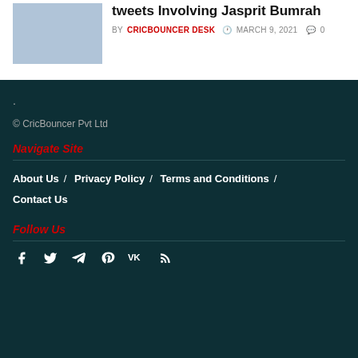[Figure (photo): Thumbnail image of cricket players]
tweets Involving Jasprit Bumrah
BY CRICBOUNCER DESK  MARCH 9, 2021  0
.
© CricBouncer Pvt Ltd
Navigate Site
About Us
Privacy Policy
Terms and Conditions
Contact Us
Follow Us
[Figure (other): Social media icons: Facebook, Twitter, Telegram, Pinterest, VK, RSS]